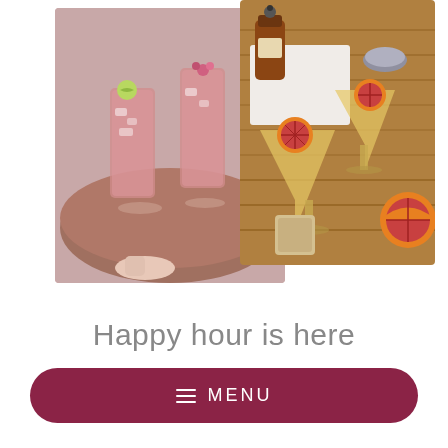[Figure (photo): Two overlapping food/drink photos: left photo shows pink cocktails with lime and ice in tall glasses on a wooden board, right photo shows margarita-style cocktails with blood orange garnish on a wooden tray]
Happy hour is here
[Figure (infographic): Dark red/maroon rounded rectangle button with hamburger menu icon and text MENU]